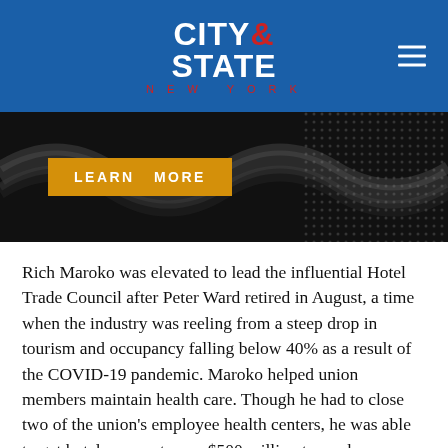CITY & STATE NEW YORK
[Figure (other): Advertisement banner with dark background featuring wave pattern graphic and a gold 'LEARN MORE' button]
Rich Maroko was elevated to lead the influential Hotel Trade Council after Peter Ward retired in August, a time when the industry was reeling from a steep drop in tourism and occupancy falling below 40% as a result of the COVID-19 pandemic. Maroko helped union members maintain health care. Though he had to close two of the union's employee health centers, he was able to get hotel owners to pay $500 million to workers displaced by the pandemic.
56. INGRID GOULD ELLEN